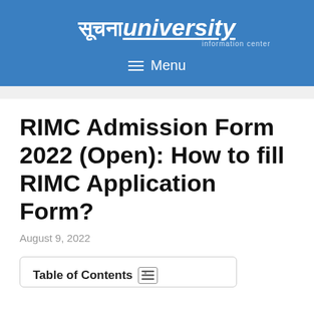सूचनाuniversity information center
≡ Menu
RIMC Admission Form 2022 (Open): How to fill RIMC Application Form?
August 9, 2022
Table of Contents